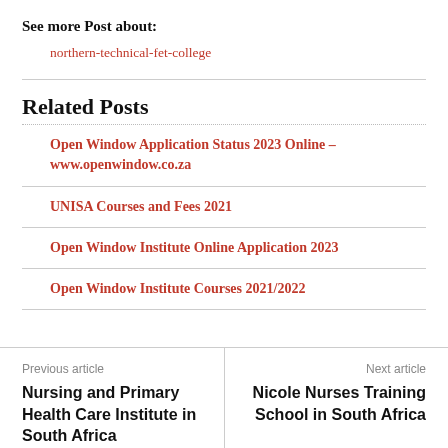See more Post about:
northern-technical-fet-college
Related Posts
Open Window Application Status 2023 Online – www.openwindow.co.za
UNISA Courses and Fees 2021
Open Window Institute Online Application 2023
Open Window Institute Courses 2021/2022
Previous article
Nursing and Primary Health Care Institute in South Africa
Next article
Nicole Nurses Training School in South Africa